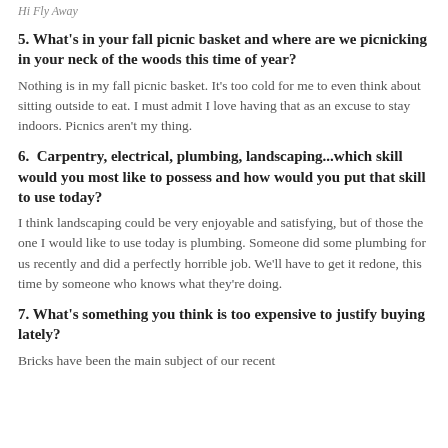Hi Fly Away
5. What's in your fall picnic basket and where are we picnicking in your neck of the woods this time of year?
Nothing is in my fall picnic basket. It's too cold for me to even think about sitting outside to eat. I must admit I love having that as an excuse to stay indoors. Picnics aren't my thing.
6.  Carpentry, electrical, plumbing, landscaping...which skill would you most like to possess and how would you put that skill to use today?
I think landscaping could be very enjoyable and satisfying, but of those the one I would like to use today is plumbing. Someone did some plumbing for us recently and did a perfectly horrible job. We'll have to get it redone, this time by someone who knows what they're doing.
7. What's something you think is too expensive to justify buying lately?
Bricks have been the main subject of our recent...